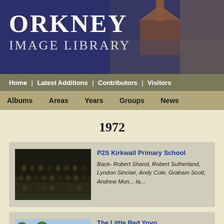ORKNEY IMAGE LIBRARY
Home | Latest Additions | Contributors | Visitors
Albums  Areas  Years  Groups  News
1972
P2S Kirkwall Primary School
Back- Robert Shand, Robert Sutherland, Lyndon Sinclair, Andy Cole, Graham Scott, Andrew Mon... Ia...
The Little Red Yoyo
I remember this (all too) vividly, and the folk in it are instantly recognisable yet. This was 2 Swe...